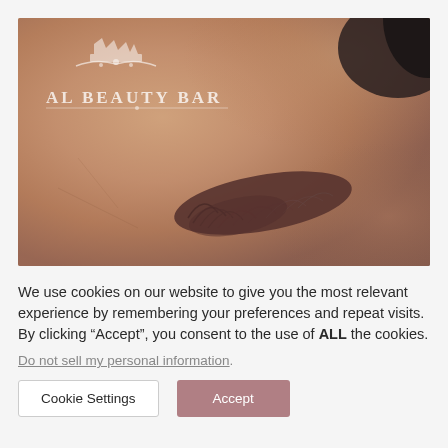[Figure (photo): Close-up photo of a person's eyebrow showing microblading or brow styling work, with the AL Beauty Bar logo watermarked in white in the upper-left corner of the image.]
We use cookies on our website to give you the most relevant experience by remembering your preferences and repeat visits. By clicking “Accept”, you consent to the use of ALL the cookies.
Do not sell my personal information.
Cookie Settings
Accept